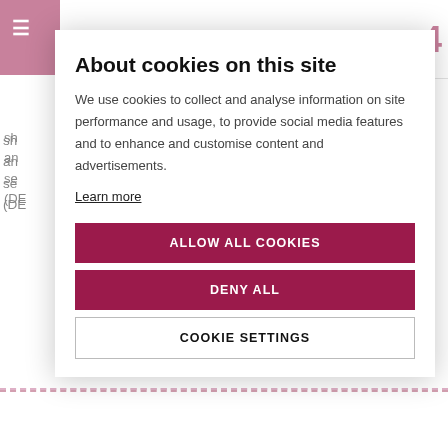4
sh
an
se
(DE
re
Le
Yo
wh
pa
to
Ol
This programme will give students the basic knowledge and understanding of the...
[Figure (screenshot): Cookie consent modal overlay with title 'About cookies on this site', descriptive text, 'Learn more' link, and three buttons: ALLOW ALL COOKIES, DENY ALL, COOKIE SETTINGS]